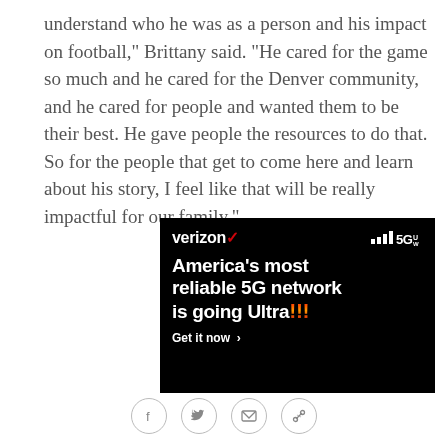understand who he was as a person and his impact on football," Brittany said. "He cared for the game so much and he cared for the Denver community, and he cared for people and wanted them to be their best. He gave people the resources to do that. So for the people that get to come here and learn about his story, I feel like that will be really impactful for our family."
[Figure (other): Verizon advertisement on black background. Top row shows Verizon logo (with red checkmark) and signal/5G icon (5GUW). Main headline reads "America's most reliable 5G network is going Ultra!!!" with exclamation marks in gradient red-orange. Below is a CTA: "Get it now >".]
[Figure (other): Row of four social sharing icon buttons in circles: Facebook (f), Twitter (bird), Email (envelope), Link/copy icon.]